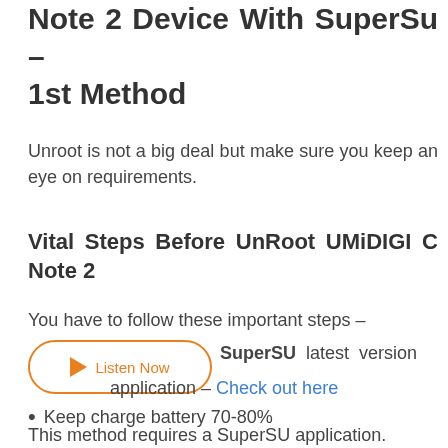Guide To UnRoot UMiDIGI C Note 2 Device With SuperSu – 1st Method
Unroot is not a big deal but make sure you keep an eye on requirements.
Vital Steps Before UnRoot UMiDIGI C Note 2
You have to follow these important steps –
Download SuperSU latest version application – Check out here
Keep charge battery 70-80%
This method requires a SuperSU application.